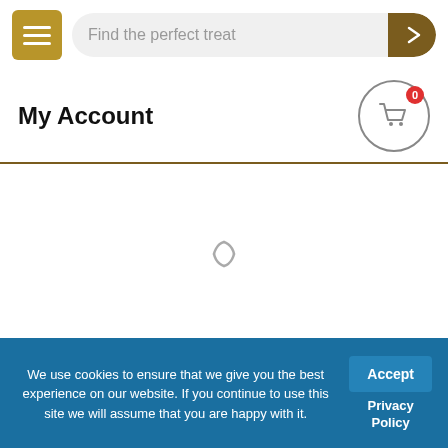Find the perfect treat
My Account
[Figure (screenshot): Loading spinner icon in center of page]
We use cookies to ensure that we give you the best experience on our website. If you continue to use this site we will assume that you are happy with it.
Accept
Privacy Policy